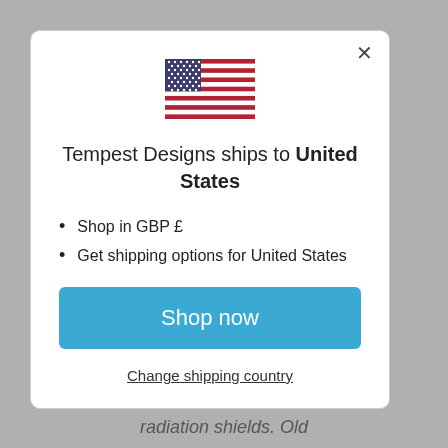[Figure (illustration): US flag emoji/icon, centered at top of modal dialog]
Tempest Designs ships to United States
Shop in GBP £
Get shipping options for United States
Shop now
Change shipping country
radiation shields. Old